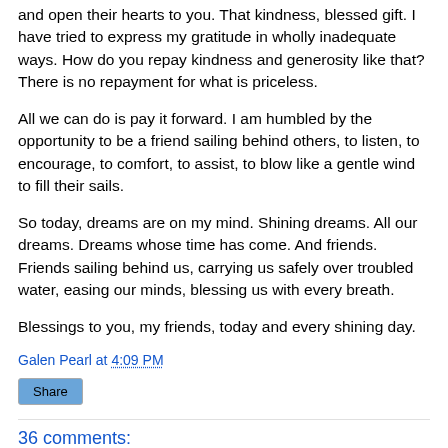and open their hearts to you. That kindness, blessed gift. I have tried to express my gratitude in wholly inadequate ways. How do you repay kindness and generosity like that? There is no repayment for what is priceless.
All we can do is pay it forward. I am humbled by the opportunity to be a friend sailing behind others, to listen, to encourage, to comfort, to assist, to blow like a gentle wind to fill their sails.
So today, dreams are on my mind. Shining dreams. All our dreams. Dreams whose time has come. And friends. Friends sailing behind us, carrying us safely over troubled water, easing our minds, blessing us with every breath.
Blessings to you, my friends, today and every shining day.
Galen Pearl at 4:09 PM
Share
36 comments: